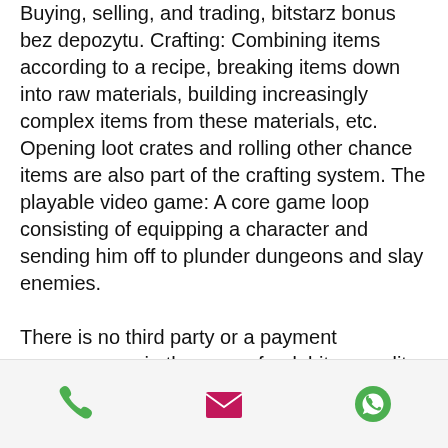Buying, selling, and trading, bitstarz bonus bez depozytu. Crafting: Combining items according to a recipe, breaking items down into raw materials, building increasingly complex items from these materials, etc. Opening loot crates and rolling other chance items are also part of the crafting system. The playable video game: A core game loop consisting of equipping a character and sending him off to plunder dungeons and slay enemies.
There is no third party or a payment processor, as in the case of a debit or credit card'hence, no source of protection or appeal if there is a problem, bitstarz bonus bez depozytu.
The game offers miners to buy video cards, assemble stands to mine crypto coins and then sell or invest them in the further development of the business. The mining...
[Figure (other): Bottom navigation bar with three icons: phone (green), email/envelope (pink/magenta), and WhatsApp (green)]